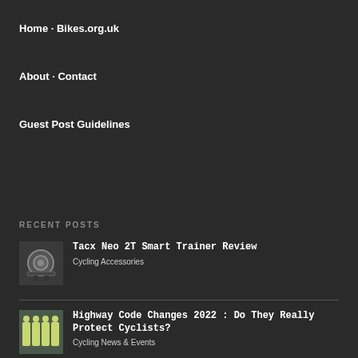Home · Bikes.org.uk
About · Contact
Guest Post Guidelines
RECENT POSTS
Tacx Neo 2T Smart Trainer Review
Cycling Accessories
Highway Code Changes 2022 : Do They Really Protect Cyclists?
Cycling News & Events